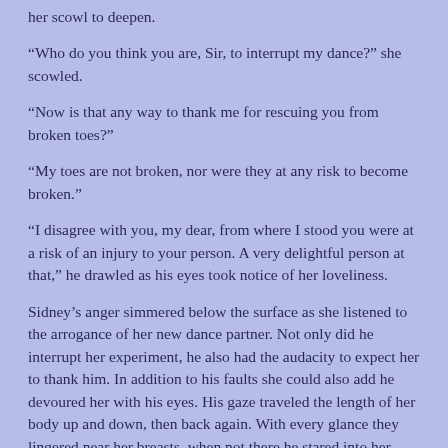her scowl to deepen.
“Who do you think you are, Sir, to interrupt my dance?” she scowled.
“Now is that any way to thank me for rescuing you from broken toes?”
“My toes are not broken, nor were they at any risk to become broken.”
“I disagree with you, my dear, from where I stood you were at a risk of an injury to your person. A very delightful person at that,” he drawled as his eyes took notice of her loveliness.
Sidney’s anger simmered below the surface as she listened to the arrogance of her new dance partner. Not only did he interrupt her experiment, he also had the audacity to expect her to thank him. In addition to his faults she could also add he devoured her with his eyes. His gaze traveled the length of her body up and down, then back again. With every glance they lingered near her breasts, when not there he stared into her eyes. He behaved as a scoundrel of the